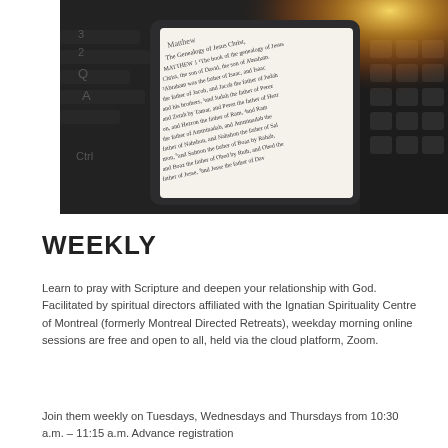[Figure (photo): Close-up photograph of a tablet/e-reader device displaying the Gospel of Matthew from the Bible, placed on a keyboard with warm sunlight flare in background.]
WEEKLY
Learn to pray with Scripture and deepen your relationship with God. Facilitated by spiritual directors affiliated with the Ignatian Spirituality Centre of Montreal (formerly Montreal Directed Retreats), weekday morning online sessions are free and open to all, held via the cloud platform, Zoom.
Join them weekly on Tuesdays, Wednesdays and Thursdays from 10:30 a.m. – 11:15 a.m. Advance registration